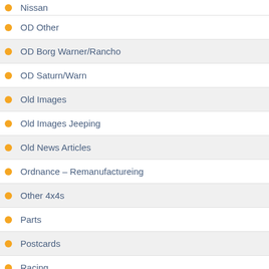Nissan
OD Other
OD Borg Warner/Rancho
OD Saturn/Warn
Old Images
Old Images Jeeping
Old News Articles
Ordnance – Remanufactureing
Other 4x4s
Parts
Postcards
Racing
Reader Stories
Roll Cage
Sedan-jeep